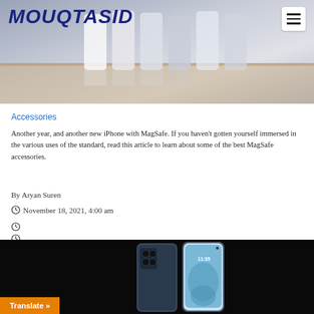[Figure (photo): Header photo showing multiple iPhones lined up on a surface, with the Mouqtasid logo overlay and a hamburger menu icon.]
Accessories
Another year, and another new iPhone with MagSafe. If you haven't gotten yourself immersed in the various uses of the standard, read this article to learn about some of the best MagSafe accessories.
By Aryan Suren
November 18, 2021, 4:00 am
[Figure (photo): Dark background photo showing two modern smartphones (foldable/edge-to-edge design) displayed from front and back angles.]